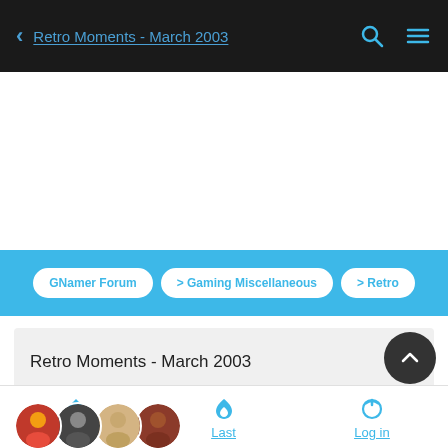< Retro Moments - March 2003
GNamer Forum > Gaming Miscellaneous > Retro
Retro Moments - March 2003
4 posters
Home  Last  Log in